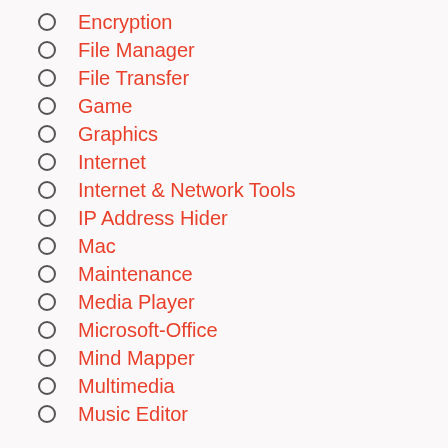Encryption
File Manager
File Transfer
Game
Graphics
Internet
Internet & Network Tools
IP Address Hider
Mac
Maintenance
Media Player
Microsoft-Office
Mind Mapper
Multimedia
Music Editor